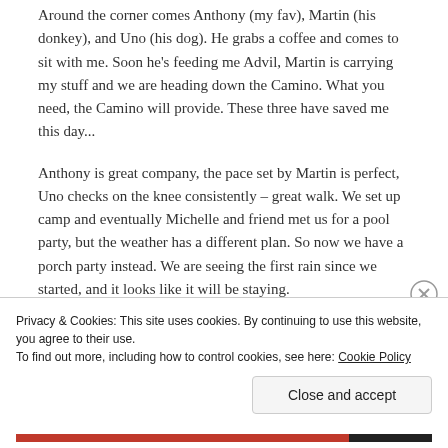Around the corner comes Anthony (my fav), Martin (his donkey), and Uno (his dog). He grabs a coffee and comes to sit with me. Soon he's feeding me Advil, Martin is carrying my stuff and we are heading down the Camino. What you need, the Camino will provide. These three have saved me this day...
Anthony is great company, the pace set by Martin is perfect, Uno checks on the knee consistently – great walk. We set up camp and eventually Michelle and friend met us for a pool party, but the weather has a different plan. So now we have a porch party instead. We are seeing the first rain since we started, and it looks like it will be staying.
Privacy & Cookies: This site uses cookies. By continuing to use this website, you agree to their use.
To find out more, including how to control cookies, see here: Cookie Policy
Close and accept